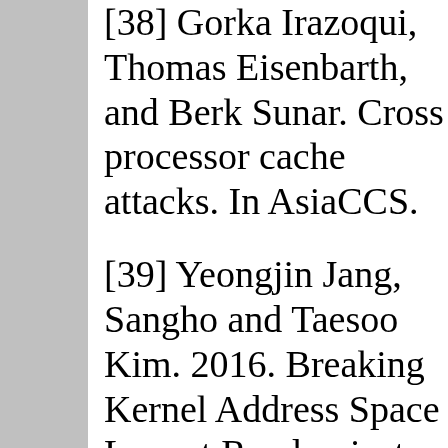[38] Gorka Irazoqui, Thomas Eisenbarth, and Berk Sunar. Cross processor cache attacks. In AsiaCCS.
[39] Yeongjin Jang, Sangho Lee, and Taesoo Kim. 2016. Breaking Kernel Address Space Layout Randomization with Intel TSX. In CCS.
[40] Richard E Kessler. 19...